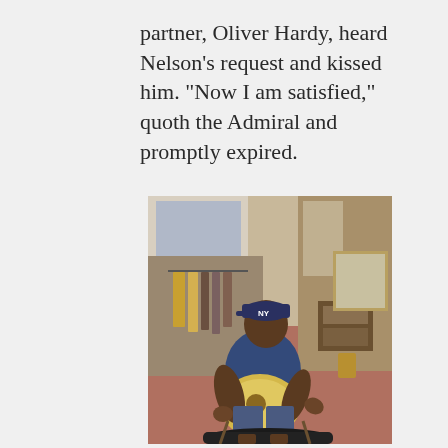partner, Oliver Hardy, heard Nelson’s request and kissed him. “Now I am satisfied,” quoth the Admiral and promptly expired.
[Figure (photo): A man wearing a navy blue NY Yankees cap and blue t-shirt sitting on a chair playing a gold/cream-colored electric guitar. Behind him are racks of clothing hanging on rails, and what appears to be a guitar amplifier. An open guitar case is on the floor in front of him.]